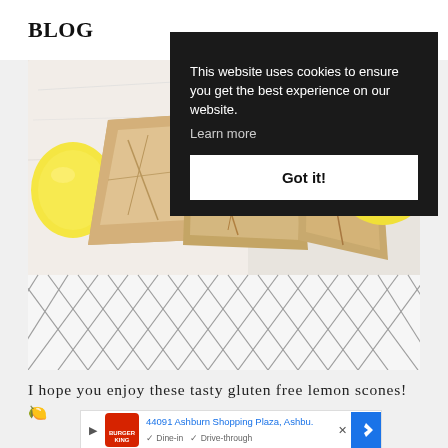BLOG
This website uses cookies to ensure you get the best experience on our website. Learn more
Got it!
[Figure (photo): Photo of gluten free lemon scones on a white marble board with lemons, placed on a black and white diamond-pattern cloth]
I hope you enjoy these tasty gluten free lemon scones! 🍋
[Figure (screenshot): Burger King advertisement showing address: 44091 Ashburn Shopping Plaza, Ashbu. with Dine-in and Drive-through options and a navigation arrow button]